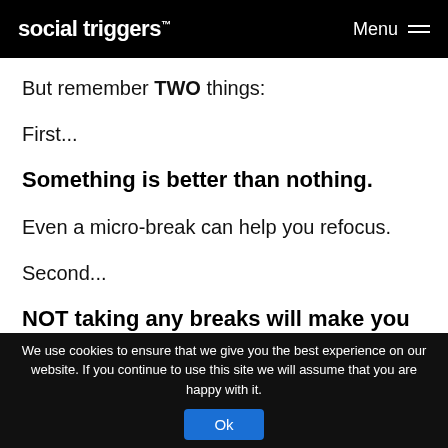social triggers ™  Menu
But remember TWO things:
First...
Something is better than nothing.
Even a micro-break can help you refocus.
Second...
NOT taking any breaks will make you LESS
We use cookies to ensure that we give you the best experience on our website. If you continue to use this site we will assume that you are happy with it.